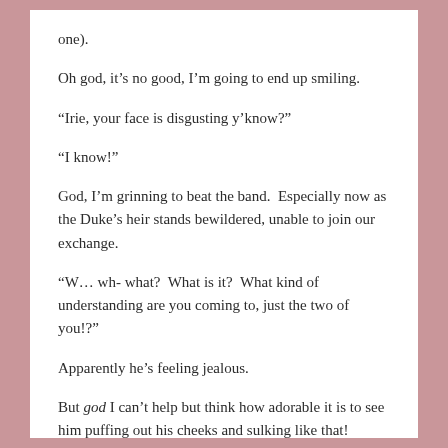one).
Oh god, it's no good, I'm going to end up smiling.
“Irie, your face is disgusting y’know?”
“I know!”
God, I’m grinning to beat the band.  Especially now as the Duke’s heir stands bewildered, unable to join our exchange.
“W… wh- what?  What is it?  What kind of understanding are you coming to, just the two of you!?”
Apparently he’s feeling jealous.
But god I can’t help but think how adorable it is to see him puffing out his cheeks and sulking like that!